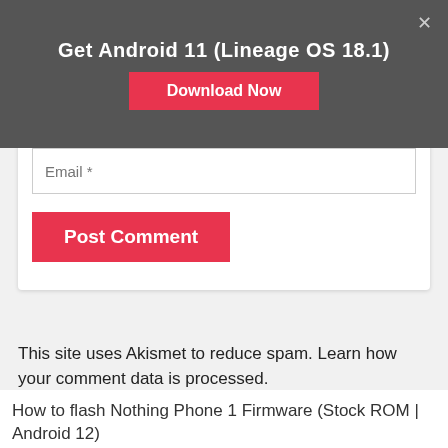Get Android 11 (Lineage OS 18.1)
Download Now
[Figure (screenshot): Email input field inside a white form card]
Post Comment
This site uses Akismet to reduce spam. Learn how your comment data is processed.
How to flash Nothing Phone 1 Firmware (Stock ROM | Android 12)
How to Unlock Bootloader and Root Google Pixel 6A